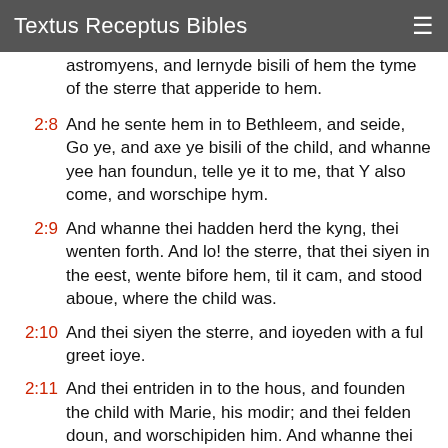Textus Receptus Bibles
astromyens, and lernyde bisili of hem the tyme of the sterre that apperide to hem.
2:8 And he sente hem in to Bethleem, and seide, Go ye, and axe ye bisili of the child, and whanne yee han foundun, telle ye it to me, that Y also come, and worschipe hym.
2:9 And whanne thei hadden herd the kyng, thei wenten forth. And lo! the sterre, that thei siyen in the eest, wente bifore hem, til it cam, and stood aboue, where the child was.
2:10 And thei siyen the sterre, and ioyeden with a ful greet ioye.
2:11 And theientriden in to the hous, and founden the child with Marie, his modir; and thei felden doun, and worschipiden him. And whanne thei hadden openyd her tresouris,